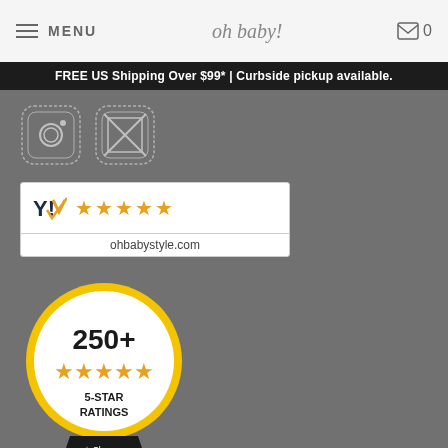MENU | oh baby! | 0
FREE US Shipping Over $99* | Curbside pickup available.
[Figure (logo): Social media icons: Instagram and email/envelope icons in gray square rounded buttons]
[Figure (logo): 5-star rating badge showing stars and ohbabystyle.com text]
[Figure (logo): Shopper Approved badge: 250+ 5-STAR RATINGS circle with gold border and ribbon]
Contact Us
Store Locations & Hours